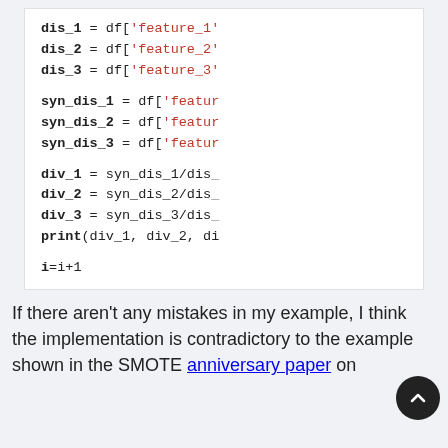[Figure (screenshot): Code block showing Python variable assignments and arithmetic: dis_1, dis_2, dis_3 from df features; syn_dis_1, syn_dis_2, syn_dis_3 from df features; div_1, div_2, div_3 computed as syn_dis/dis ratios; print statement; i=i+1]
If there aren't any mistakes in my example, I think the implementation is contradictory to the example shown in the SMOTE anniversary paper on